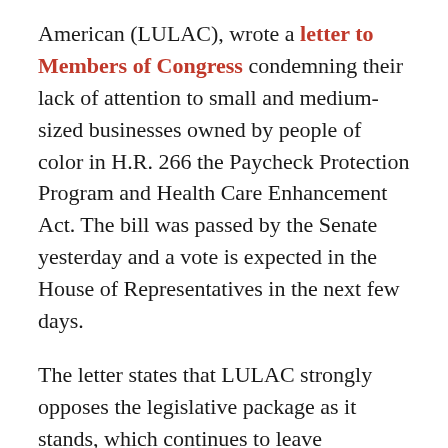American (LULAC), wrote a letter to Members of Congress condemning their lack of attention to small and medium-sized businesses owned by people of color in H.R. 266 the Paycheck Protection Program and Health Care Enhancement Act. The bill was passed by the Senate yesterday and a vote is expected in the House of Representatives in the next few days.
The letter states that LULAC strongly opposes the legislative package as it stands, which continues to leave significant sectors of our economy out and does not provide targeted help to communities of color. LULAC is asking members of Congress to vote NO on H.R. 266 and instead focus on legislation that will directly address the needs of those businesses most affected by this pandemic and provide free COVID-19